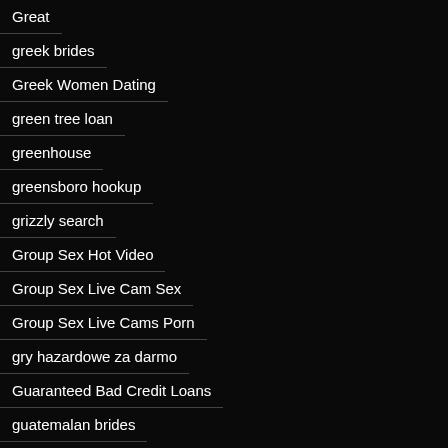Great
greek brides
Greek Women Dating
green tree loan
greenhouse
greensboro hookup
grizzly search
Group Sex Hot Video
Group Sex Live Cam Sex
Group Sex Live Cams Porn
gry hazardowe za darmo
Guaranteed Bad Credit Loans
guatemalan brides